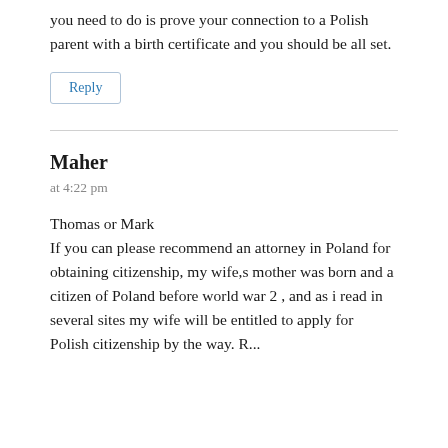you need to do is prove your connection to a Polish parent with a birth certificate and you should be all set.
Reply
Maher
at 4:22 pm
Thomas or Mark
If you can please recommend an attorney in Poland for obtaining citizenship, my wife,s mother was born and a citizen of Poland before world war 2 , and as i read in several sites my wife will be entitled to apply for Polish citizenship by the way. Russian...